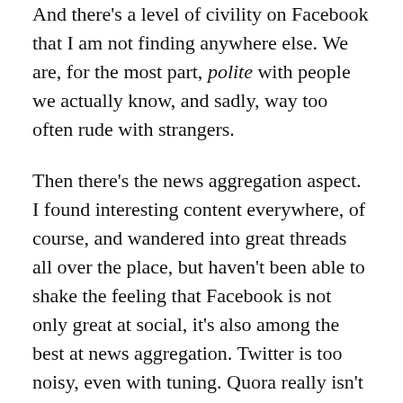And there's a level of civility on Facebook that I am not finding anywhere else. We are, for the most part, polite with people we actually know, and sadly, way too often rude with strangers.
Then there's the news aggregation aspect. I found interesting content everywhere, of course, and wandered into great threads all over the place, but haven't been able to shake the feeling that Facebook is not only great at social, it's also among the best at news aggregation. Twitter is too noisy, even with tuning. Quora really isn't about news. Reddit can be about news if you use it that way, but I find it much better for surfacing random stuff than for seeing what's going on the world today/now. A dedicated RSS reader (I use Feedly) is right up there with Facebook, but feels “cold” in comparison.
But wasn't this exactly what I was looking for — a break from the continual pressure to engage? If I so much as